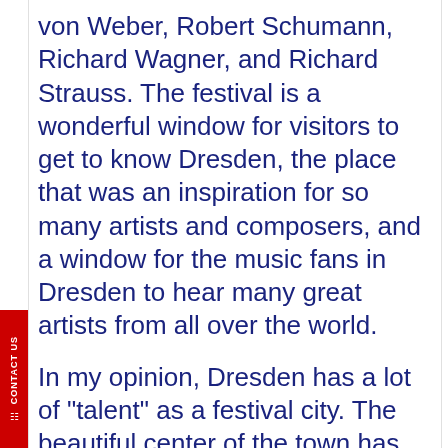von Weber, Robert Schumann, Richard Wagner, and Richard Strauss. The festival is a wonderful window for visitors to get to know Dresden, the place that was an inspiration for so many artists and composers, and a window for the music fans in Dresden to hear many great artists from all over the world.
In my opinion, Dresden has a lot of "talent" as a festival city. The beautiful center of the town has many excellent venues like the modern Kulturpalast, the